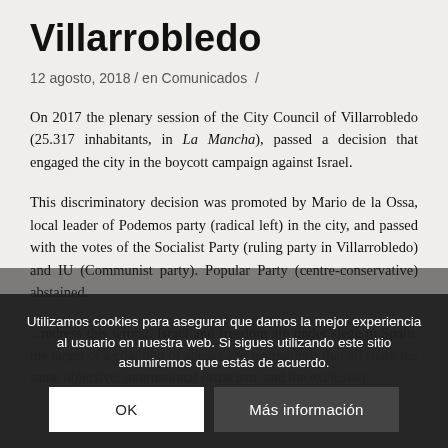Villarrobledo
12 agosto, 2018 / en Comunicados /
On 2017 the plenary session of the City Council of Villarrobledo (25.317 inhabitants, in La Mancha), passed a decision that engaged the city in the boycott campaign against Israel.
This discriminatory decision was promoted by Mario de la Ossa, local leader of Podemos party (radical left) in the city, and passed with the votes of the Socialist Party (ruling party in Villarrobledo) and IU (Communist party). Popular Party (centre-conservative) abstained.
...redress this wrong. Israel and freedom are under siege in Spain, the target of a coalition of abuses and usurpations that all share the same objective: international ostracism, and the exclusion...
Utilizamos cookies para asegurar que damos la mejor experiencia al usuario en nuestra web. Si sigues utilizando este sitio asumiremos que estás de acuerdo.